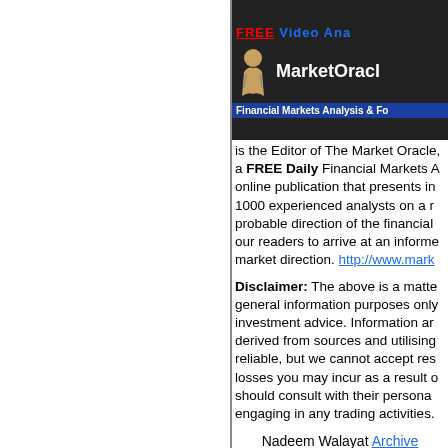[Figure (logo): MarketOracle logo banner with dark background, figure icon, site name, and tagline 'Financial Markets Analysis & Fo']
is the Editor of The Market Oracle, a FREE Daily Financial Markets A online publication that presents in 1000 experienced analysts on a r probable direction of the financial our readers to arrive at an informe market direction. http://www.mark
Disclaimer: The above is a matte general information purposes only investment advice. Information ar derived from sources and utilising reliable, but we cannot accept res losses you may incur as a result o should consult with their persona engaging in any trading activities.
Nadeem Walayat Archive
© 2005-2019 http://www.MarketO Oracle is a FREE Daily Financial Forecasting online publication.